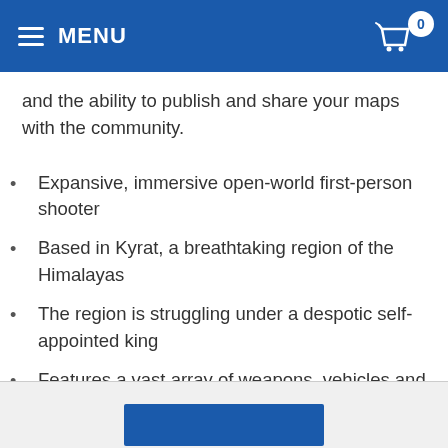MENU
and the ability to publish and share your maps with the community.
Expansive, immersive open-world first-person shooter
Based in Kyrat, a breathtaking region of the Himalayas
The region is struggling under a despotic self-appointed king
Features a vast array of weapons, vehicles and animals
Write your own story across an exotic open-world landscape